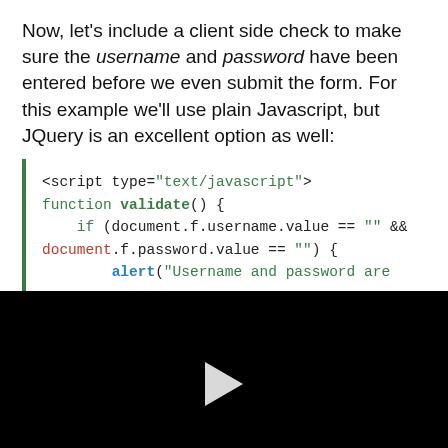Now, let's include a client side check to make sure the username and password have been entered before we even submit the form. For this example we'll use plain Javascript, but JQuery is an excellent option as well:
[Figure (screenshot): Syntax-highlighted code block showing JavaScript: <script type="text/javascript">, function validate() {, if (document.f.username.value == "" && document.f.password.value == "") {, alert("Username and password are]
[Figure (screenshot): Black video player area with a white play button triangle in the center]